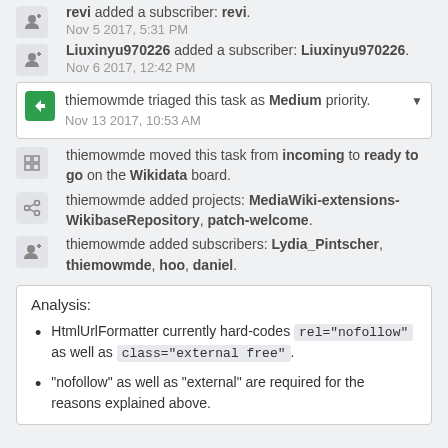revi added a subscriber: revi.
Nov 5 2017, 5:31 PM
Liuxinyu970226 added a subscriber: Liuxinyu970226.
Nov 6 2017, 12:42 PM
thiemowmde triaged this task as Medium priority.
Nov 13 2017, 10:53 AM
thiemowmde moved this task from incoming to ready to go on the Wikidata board.
thiemowmde added projects: MediaWiki-extensions-WikibaseRepository, patch-welcome.
thiemowmde added subscribers: Lydia_Pintscher, thiemowmde, hoo, daniel.
Analysis:
HtmlUrlFormatter currently hard-codes rel="nofollow" as well as class="external free".
"nofollow" as well as "external" are required for the reasons explained above.